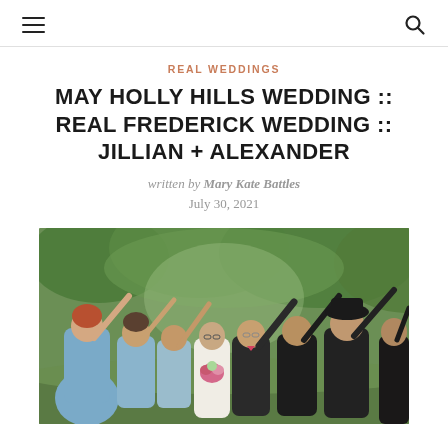≡  🔍
REAL WEDDINGS
MAY HOLLY HILLS WEDDING :: REAL FREDERICK WEDDING :: JILLIAN + ALEXANDER
written by Mary Kate Battles
July 30, 2021
[Figure (photo): Wedding party walking under an arch of raised arms. Bridesmaids in blue dresses on the left, groomsmen in dark suits on the right. Couple walking through the middle, bride in white dress holding a bouquet, groom in tuxedo. Outdoor garden setting with green trees in background.]